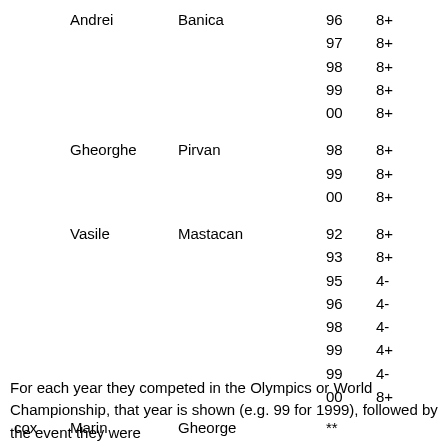| role | first name | last name | year | event |
| --- | --- | --- | --- | --- |
|  | Andrei | Banica | 96 | 8+ |
|  |  |  | 97 | 8+ |
|  |  |  | 98 | 8+ |
|  |  |  | 99 | 8+ |
|  |  |  | 00 | 8+ |
|  | Gheorghe | Pirvan | 98 | 8+ |
|  |  |  | 99 | 8+ |
|  |  |  | 00 | 8+ |
|  | Vasile | Mastacan | 92 | 8+ |
|  |  |  | 93 | 8+ |
|  |  |  | 95 | 4- |
|  |  |  | 96 | 4- |
|  |  |  | 98 | 4- |
|  |  |  | 99 | 4+ |
|  |  |  | 99 | 4- |
|  |  |  | 00 | 8+ |
| cox | Marin | Gheorge | ** |  |
For each year they competed in the Olympics or World Championship, that year is shown (e.g. 99 for 1999), followed by the event they were